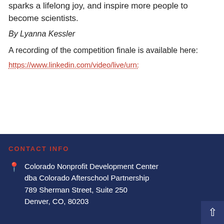sparks a lifelong joy, and inspire more people to become scientists.
By Lyanna Kessler
A recording of the competition finale is available here:
https://www.linkedin.com/video/live/urn:
CONTACT INFO
Colorado Nonprofit Development Center
dba Colorado Afterschool Partnership
789 Sherman Street, Suite 250
Denver, CO, 80203